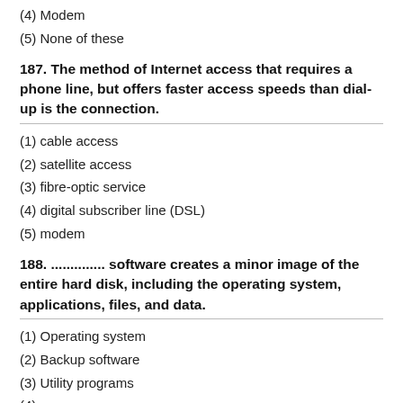(4) Modem
(5) None of these
187. The method of Internet access that requires a phone line, but offers faster access speeds than dial-up is the connection.
(1) cable access
(2) satellite access
(3) fibre-optic service
(4) digital subscriber line (DSL)
(5) modem
188. ............. software creates a minor image of the entire hard disk, including the operating system, applications, files, and data.
(1) Operating system
(2) Backup software
(3) Utility programs
(4) ...